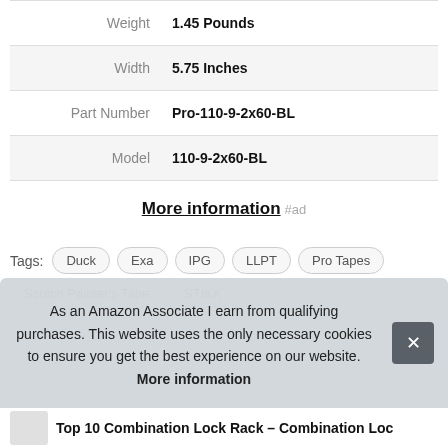|  |  |
| --- | --- |
| Weight | 1.45 Pounds |
| Width | 5.75 Inches |
| Part Number | Pro-110-9-2x60-BL |
| Model | 110-9-2x60-BL |
More information #ad
Tags: Duck Exa IPG LLPT Pro Tapes Scotch Painter's Tape STIKK
As an Amazon Associate I earn from qualifying purchases. This website uses the only necessary cookies to ensure you get the best experience on our website. More information
Top 10 Combination Lock Rack – Combination Loc